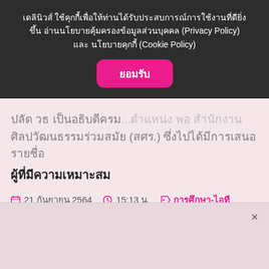เดลินิวส์ ใช้คุกกี้เพื่อให้ท่านได้รับประสบการณ์การใช้งานที่ดียิ่งขึ้น อ่านนโยบายคุ้มครองข้อมูลส่วนบุคคล (Privacy Policy) และ นโยบายคุกกี้ (Cookie Policy)
ยอมรับ
ปลัด วธ เป็นอธิบดีครม...ตำแหน่ง พอ สำนักงาน ศิลปวัฒนธรรมร่วมสมัย (สศร.) ซึ่งไปได้มีการเสนอรายชื่อ
ผู้ที่มีความเหมาะสม
21 กันยายน 2564   15:13 น.   การศึกษา-ไอที
[Figure (infographic): Social share buttons: link, Facebook, Twitter, LINE — each with count 0 below]
[Figure (infographic): Advertisement close area at bottom with × close button]